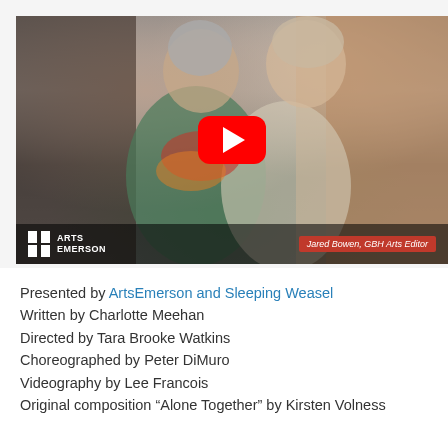[Figure (screenshot): YouTube video thumbnail showing two women hugging, with a red YouTube play button in the center. Bottom bar shows Arts Emerson logo on the left and 'Jared Bowen, GBH Arts Editor' tag on the right.]
Presented by ArtsEmerson and Sleeping Weasel
Written by Charlotte Meehan
Directed by Tara Brooke Watkins
Choreographed by Peter DiMuro
Videography by Lee Francois
Original composition “Alone Together” by Kirsten Volness